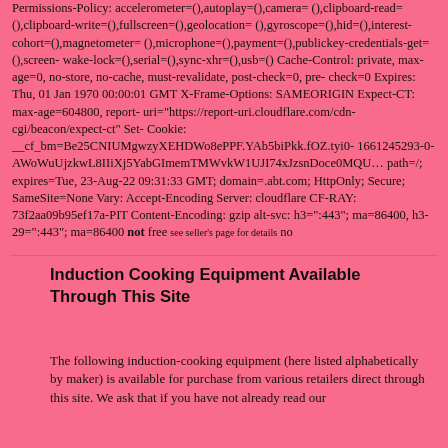Permissions-Policy: accelerometer=(),autoplay=(),camera=(),clipboard-read=(),clipboard-write=(),fullscreen=(),geolocation=(),gyroscope=(),hid=(),interest-cohort=(),magnetometer=(),microphone=(),payment=(),publickey-credentials-get=(),screen-wake-lock=(),serial=(),sync-xhr=(),usb=() Cache-Control: private, max-age=0, no-store, no-cache, must-revalidate, post-check=0, pre-check=0 Expires: Thu, 01 Jan 1970 00:00:01 GMT X-Frame-Options: SAMEORIGIN Expect-CT: max-age=604800, report-uri="https://report-uri.cloudflare.com/cdn-cgi/beacon/expect-ct" Set-Cookie: __cf_bm=Be25CNIUMgwzyXEHDWo8ePPF.YAb5biPkk.fOZ.tyi0-1661245293-0-AWoWuUjzkwL8IIiXj5YabGImemTMWvkW1UJI74xJzsnDoce0MQUa path=/; expires=Tue, 23-Aug-22 09:31:33 GMT; domain=.abt.com; HttpOnly; Secure; SameSite=None Vary: Accept-Encoding Server: cloudflare CF-RAY: 73f2aa09b95ef17a-PIT Content-Encoding: gzip alt-svc: h3=":443"; ma=86400, h3-29=":443"; ma=86400 not free see seller's page for details no
Induction Cooking Equipment Available Through This Site
The following induction-cooking equipment (here listed alphabetically by maker) is available for purchase from various retailers direct through this site. We ask that if you have not already read our